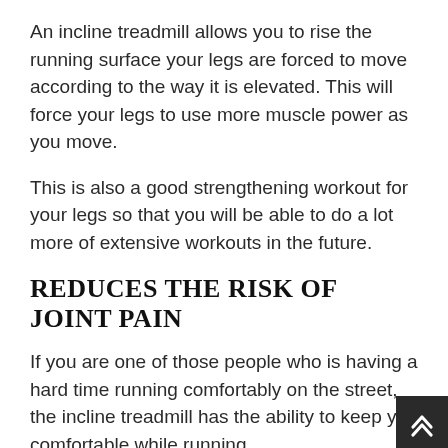An incline treadmill allows you to rise the running surface your legs are forced to move according to the way it is elevated. This will force your legs to use more muscle power as you move.
This is also a good strengthening workout for your legs so that you will be able to do a lot more of extensive workouts in the future.
REDUCES THE RISK OF JOINT PAIN
If you are one of those people who is having a hard time running comfortably on the street, the incline treadmill has the ability to keep you comfortable while running.
This is because most of the incline treadmills in the market have a shock supporter installed under the treadmill belt. These shocks will absorb all the